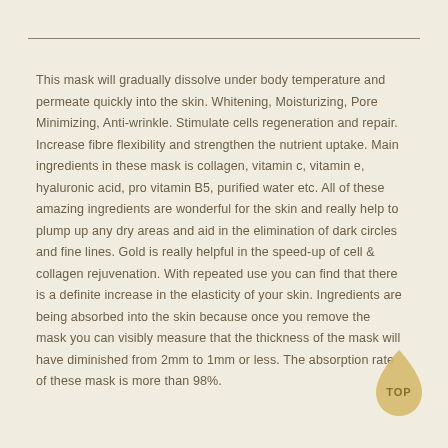This mask will gradually dissolve under body temperature and permeate quickly into the skin. Whitening, Moisturizing, Pore Minimizing, Anti-wrinkle. Stimulate cells regeneration and repair. Increase fibre flexibility and strengthen the nutrient uptake. Main ingredients in these mask is collagen, vitamin c, vitamin e, hyaluronic acid, pro vitamin B5, purified water etc. All of these amazing ingredients are wonderful for the skin and really help to plump up any dry areas and aid in the elimination of dark circles and fine lines. Gold is really helpful in the speed-up of cell & collagen rejuvenation. With repeated use you can find that there is a definite increase in the elasticity of your skin. Ingredients are being absorbed into the skin because once you remove the mask you can visibly measure that the thickness of the mask will have diminished from 2mm to 1mm or less. The absorption rate of these mask is more than 98%.
[Figure (other): Gold droplet shape badge with text TOP in the center]